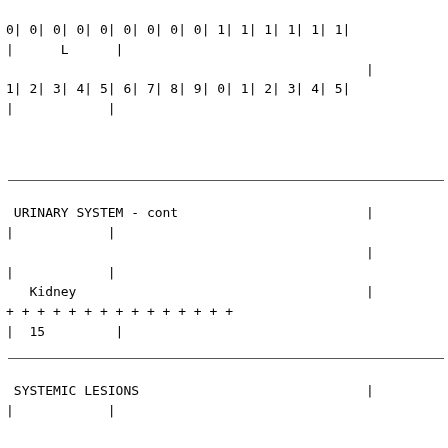0| 0| 0| 0| 0| 0| 0| 0| 0| 1| 1| 1| 1| 1| 1|
|      L      |

                                              |
1| 2| 3| 4| 5| 6| 7| 8| 9| 0| 1| 2| 3| 4| 5|
|            |
URINARY SYSTEM - cont
|
|            |

                                              |
|            |
   Kidney                                     |
+ + + + + + + + + + + + + + +
|  15         |
SYSTEMIC LESIONS
|            |